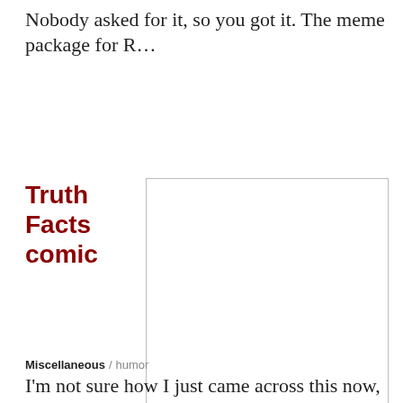Nobody asked for it, so you got it. The meme package for R...
Truth Facts comic
[Figure (other): A blank white rectangle with a thin grey border, representing a placeholder for a Truth Facts comic image.]
Miscellaneous / humor
I'm not sure how I just came across this now, but the Truth